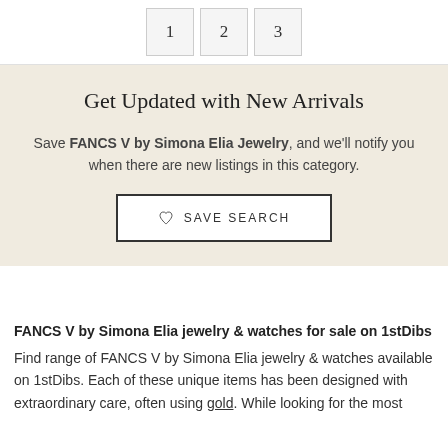[Figure (other): Pagination controls showing boxes labeled 1, 2, 3]
Get Updated with New Arrivals
Save FANCS V by Simona Elia Jewelry, and we'll notify you when there are new listings in this category.
[Figure (other): Save Search button with heart icon]
FANCS V by Simona Elia jewelry & watches for sale on 1stDibs
Find range of FANCS V by Simona Elia jewelry & watches available on 1stDibs. Each of these unique items has been designed with extraordinary care, often using gold. While looking for the most